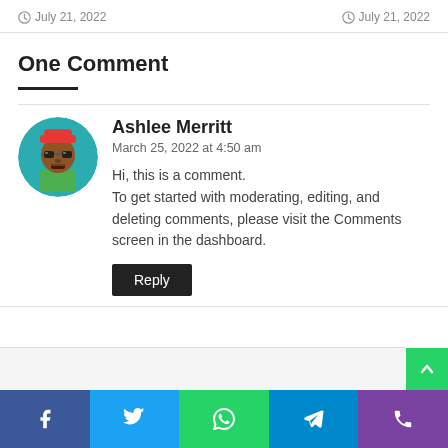July 21, 2022   July 21, 2022
One Comment
Ashlee Merritt
March 25, 2022 at 4:50 am
Hi, this is a comment.
To get started with moderating, editing, and deleting comments, please visit the Comments screen in the dashboard.
Reply